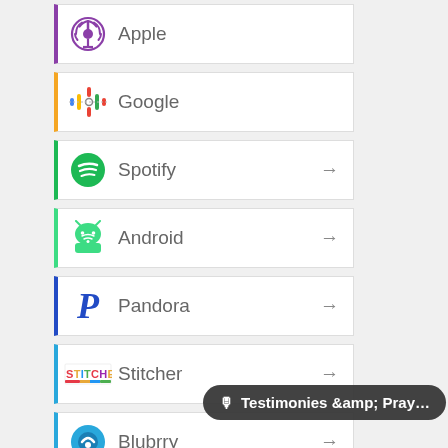Apple
Google
Spotify →
Android →
Pandora →
Stitcher →
Blubrry →
Testimonies &amp; Pray…